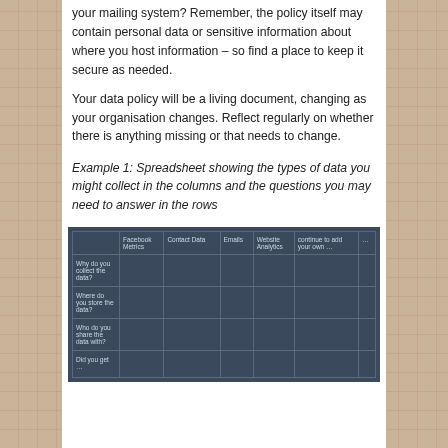your mailing system? Remember, the policy itself may contain personal data or sensitive information about where you host information – so find a place to keep it secure as needed.
Your data policy will be a living document, changing as your organisation changes. Reflect regularly on whether there is anything missing or that needs to change.
Example 1: Spreadsheet showing the types of data you might collect in the columns and the questions you may need to answer in the rows
[Figure (table-as-image): A spreadsheet table with a dark blue/navy background showing columns: Facebook Metrics, Contact Data, Emails, Website Analytics, continue to add your own..., ... and rows: Why do you collect the data?, Where do you store the data?, Who do you share the data with?, Did you get...]